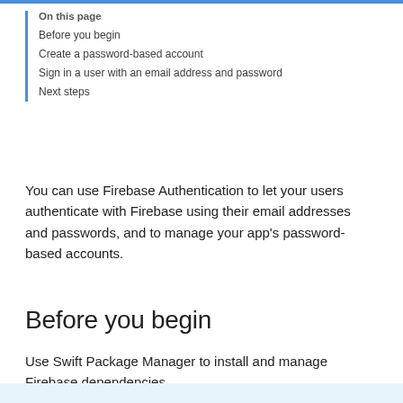On this page
Before you begin
Create a password-based account
Sign in a user with an email address and password
Next steps
You can use Firebase Authentication to let your users authenticate with Firebase using their email addresses and passwords, and to manage your app's password-based accounts.
Before you begin
Use Swift Package Manager to install and manage Firebase dependencies.